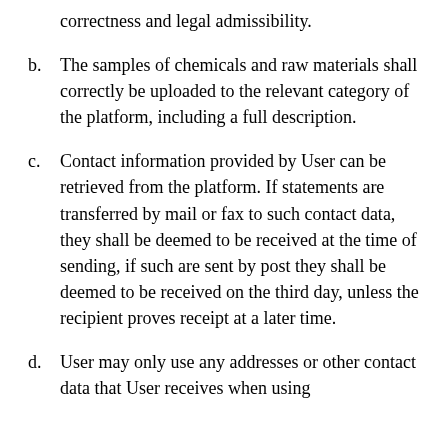correctness and legal admissibility.
b. The samples of chemicals and raw materials shall correctly be uploaded to the relevant category of the platform, including a full description.
c. Contact information provided by User can be retrieved from the platform. If statements are transferred by mail or fax to such contact data, they shall be deemed to be received at the time of sending, if such are sent by post they shall be deemed to be received on the third day, unless the recipient proves receipt at a later time.
d. User may only use any addresses or other contact data that User receives when using